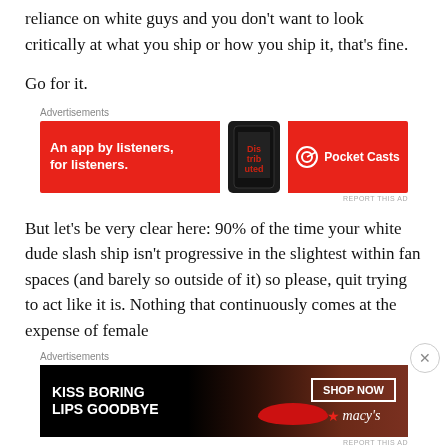reliance on white guys and you don't want to look critically at what you ship or how you ship it, that's fine.
Go for it.
[Figure (other): Pocket Casts advertisement banner: red background with text 'An app by listeners, for listeners.' and Pocket Casts logo on right, phone image in center]
But let's be very clear here: 90% of the time your white dude slash ship isn't progressive in the slightest within fan spaces (and barely so outside of it) so please, quit trying to act like it is. Nothing that continuously comes at the expense of female
[Figure (other): Macy's advertisement banner: dark background with woman's face, text 'KISS BORING LIPS GOODBYE', SHOP NOW button and Macy's logo]